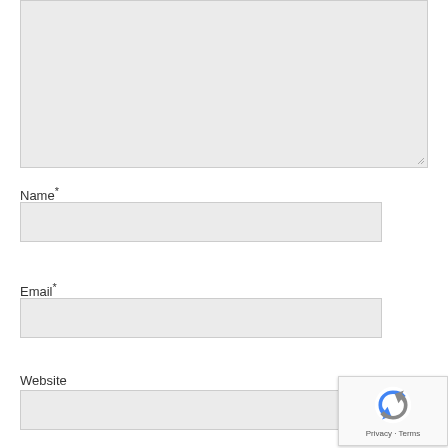[Figure (screenshot): Large textarea input field with light gray background and resize handle in bottom-right corner]
Name*
[Figure (screenshot): Name text input field with light gray background]
Email*
[Figure (screenshot): Email text input field with light gray background]
Website
[Figure (screenshot): Website text input field with light gray background]
[Figure (logo): reCAPTCHA badge with circular arrow logo and Privacy - Terms text]